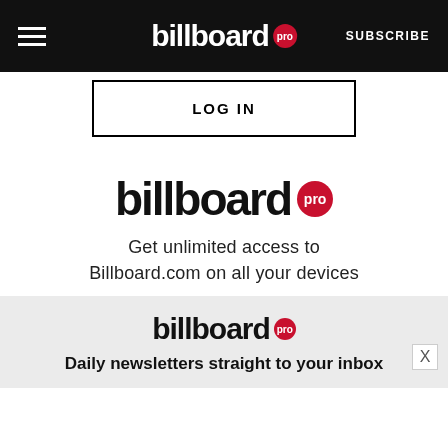billboard pro | SUBSCRIBE
LOG IN
[Figure (logo): Billboard Pro logo — large black bold 'billboard' text with red circular 'pro' badge]
Get unlimited access to Billboard.com on all your devices
[Figure (logo): Billboard Pro logo (smaller) with red circular 'pro' badge, on light gray background]
Daily newsletters straight to your inbox